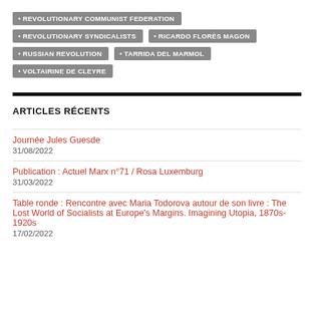REVOLUTIONARY COMMUNIST FEDERATION
REVOLUTIONARY SYNDICALISTS
RICARDO FLORÈS MAGON
RUSSIAN REVOLUTION
TARRIDA DEL MARMOL
VOLTAIRINE DE CLEYRE
ARTICLES RÉCENTS
Journée Jules Guesde
31/08/2022
Publication : Actuel Marx n°71 / Rosa Luxemburg
31/03/2022
Table ronde : Rencontre avec Maria Todorova autour de son livre : The Lost World of Socialists at Europe's Margins. Imagining Utopia, 1870s-1920s
17/02/2022